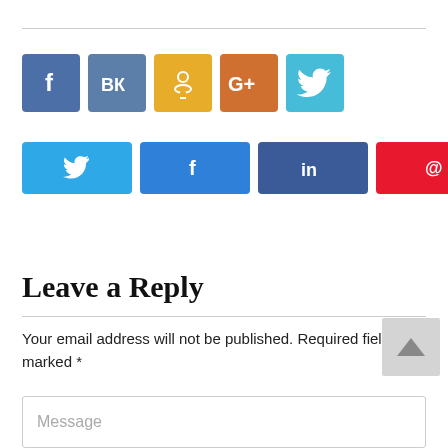[Figure (other): Social media share buttons row 1: Facebook (blue), VK (steel blue), Odnoklassniki (yellow), Google+ (orange), Twitter (cyan)]
[Figure (other): Social media share buttons row 2: Twitter (blue rect), Facebook (blue rect), LinkedIn (dark blue rect), Pinterest (red rect), plus share count showing 0 SHARES]
Leave a Reply
Your email address will not be published. Required fields are marked *
Message